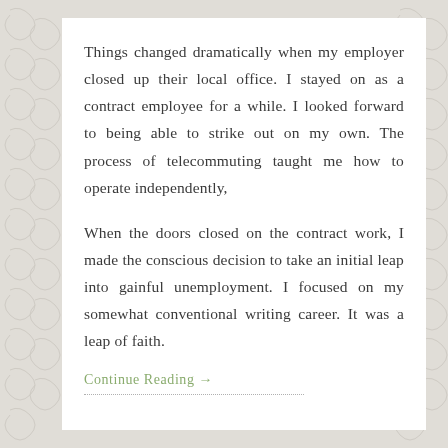Things changed dramatically when my employer closed up their local office. I stayed on as a contract employee for a while. I looked forward to being able to strike out on my own. The process of telecommuting taught me how to operate independently,
When the doors closed on the contract work, I made the conscious decision to take an initial leap into gainful unemployment. I focused on my somewhat conventional writing career. It was a leap of faith.
Continue Reading →